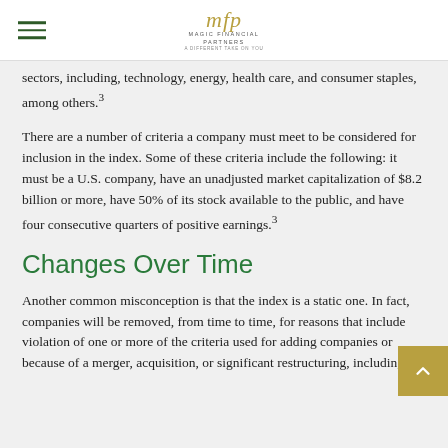MFP Magic Financial Partners
sectors, including, technology, energy, health care, and consumer staples, among others.³
There are a number of criteria a company must meet to be considered for inclusion in the index. Some of these criteria include the following: it must be a U.S. company, have an unadjusted market capitalization of $8.2 billion or more, have 50% of its stock available to the public, and have four consecutive quarters of positive earnings.³
Changes Over Time
Another common misconception is that the index is a static one. In fact, companies will be removed, from time to time, for reasons that include violation of one or more of the criteria used for adding companies or because of a merger, acquisition, or significant restructuring, including